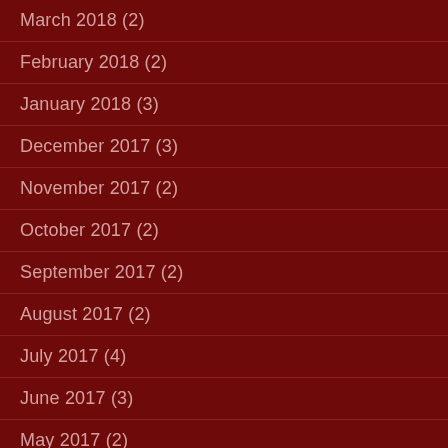March 2018 (2)
February 2018 (2)
January 2018 (3)
December 2017 (3)
November 2017 (2)
October 2017 (2)
September 2017 (2)
August 2017 (2)
July 2017 (4)
June 2017 (3)
May 2017 (2)
April 2017 (5)
March 2017 (5)